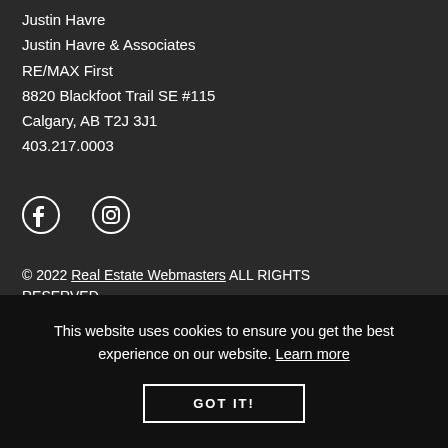Justin Havre
Justin Havre & Associates
RE/MAX First
8820 Blackfoot Trail SE #115
Calgary, AB T2J 3J1
403.217.0003
[Figure (other): Facebook and Instagram social media icons]
© 2022 Real Estate Webmasters ALL RIGHTS RESERVED.
This website uses cookies to ensure you get the best experience on our website. Learn more
GOT IT!